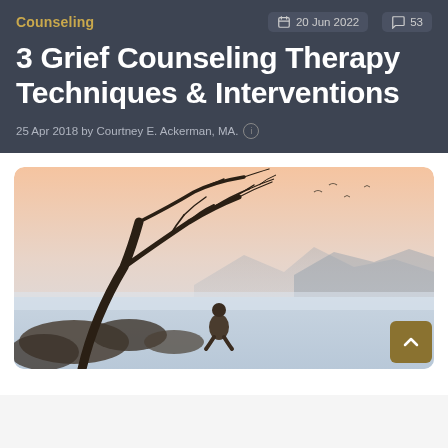Counseling
20 Jun 2022   53
3 Grief Counseling Therapy Techniques & Interventions
25 Apr 2018 by Courtney E. Ackerman, MA.
[Figure (photo): A person sitting alone on rocks beneath a bare, leaning tree at the edge of a misty lake or bay, with mountains in the background and a pastel sunrise sky. The scene conveys solitude and grief.]